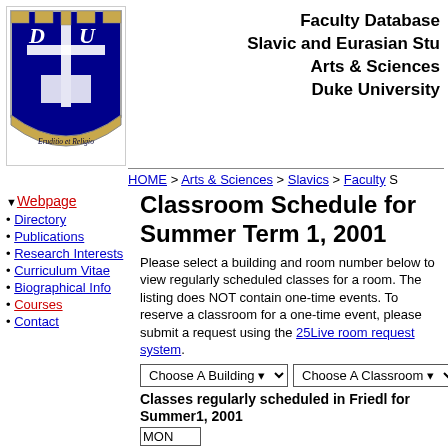[Figure (logo): Duke University shield logo with blue background, cross, book, and motto 'Eruditio et Religio']
Faculty Database
Slavic and Eurasian Stu
Arts & Sciences
Duke University
HOME > Arts & Sciences > Slavics > Faculty  S
▼ Webpage
• Directory
• Publications
• Research Interests
• Curriculum Vitae
• Biographical Info
• Courses
• Contact
Classroom Schedule for Summer Term 1, 2001
Please select a building and room number below to view regularly scheduled classes for a room. The listing does NOT contain one-time events. To reserve a classroom for a one-time event, please submit a request using the 25Live room request system.
Choose A Building  ▾    Choose A Classroom  ▾
Classes regularly scheduled in Friedl for Summer1, 2001
MON